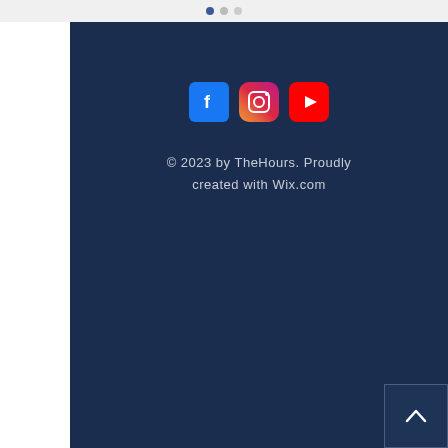[Figure (illustration): Three navigation dots at top: one blue filled, two gray — pagination indicator]
[Figure (illustration): Three social media icons: Facebook (blue square), Instagram (gradient square), YouTube (red square with play button)]
© 2023 by TheHours. Proudly created with Wix.com
[Figure (illustration): Back to top button: dark navy square with white upward chevron arrow]